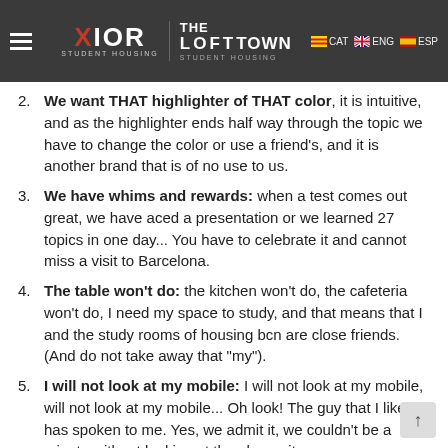CAT | ENG | ESP — Xior Student Housing | The Loft Town
2. We want THAT highlighter of THAT color, it is intuitive, and as the highlighter ends half way through the topic we have to change the color or use a friend's, and it is another brand that is of no use to us.
3. We have whims and rewards: when a test comes out great, we have aced a presentation or we learned 27 topics in one day... You have to celebrate it and cannot miss a visit to Barcelona.
4. The table won't do: the kitchen won't do, the cafeteria won't do, I need my space to study, and that means that I and the study rooms of housing bcn are close friends. (And do not take away that "my").
5. I will not look at my mobile: I will not look at my mobile, will not look at my mobile... Oh look! The guy that I like has spoken to me. Yes, we admit it, we couldn't be a minute without looking at the phone, it